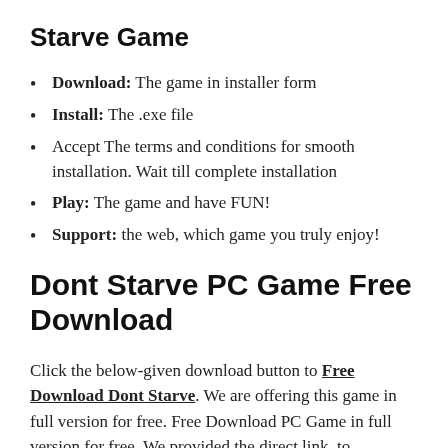Starve Game
Download: The game in installer form
Install: The .exe file
Accept The terms and conditions for smooth installation. Wait till complete installation
Play: The game and have FUN!
Support: the web, which game you truly enjoy!
Dont Starve PC Game Free Download
Click the below-given download button to Free Download Dont Starve. We are offering this game in full version for free. Free Download PC Game in full version for free. We provided the direct link, to download the setup file of the game in a full version. Click the download button to start